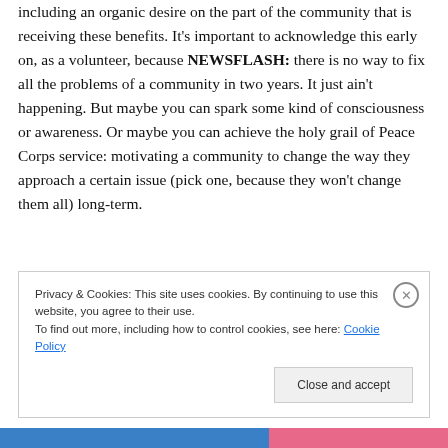including an organic desire on the part of the community that is receiving these benefits. It's important to acknowledge this early on, as a volunteer, because NEWSFLASH: there is no way to fix all the problems of a community in two years. It just ain't happening. But maybe you can spark some kind of consciousness or awareness. Or maybe you can achieve the holy grail of Peace Corps service: motivating a community to change the way they approach a certain issue (pick one, because they won't change them all) long-term.
Privacy & Cookies: This site uses cookies. By continuing to use this website, you agree to their use. To find out more, including how to control cookies, see here: Cookie Policy